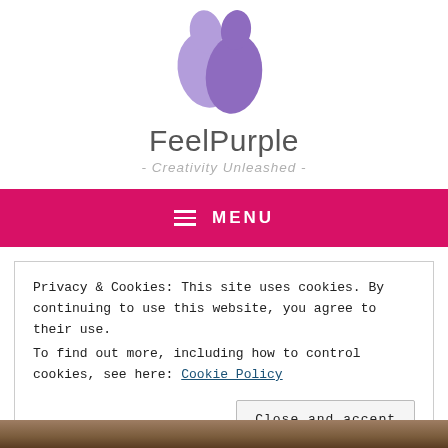[Figure (logo): FeelPurple logo: two purple teardrop/paint drop shapes, one lighter and one darker purple, overlapping]
FeelPurple
- Creativity Unleashed -
≡ MENU
Privacy & Cookies: This site uses cookies. By continuing to use this website, you agree to their use.
To find out more, including how to control cookies, see here: Cookie Policy
Close and accept
[Figure (photo): Bottom strip of a photo, appears to be people or a scene, brown/warm tones]